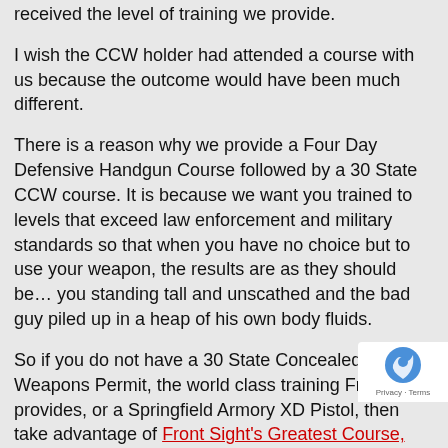received the level of training we provide.
I wish the CCW holder had attended a course with us because the outcome would have been much different.
There is a reason why we provide a Four Day Defensive Handgun Course followed by a 30 State CCW course. It is because we want you trained to levels that exceed law enforcement and military standards so that when you have no choice but to use your weapon, the results are as they should be… you standing tall and unscathed and the bad guy piled up in a heap of his own body fluids.
So if you do not have a 30 State Concealed Weapons Permit, the world class training Front Sight provides, or a Springfield Armory XD Pistol, then take advantage of Front Sight's Greatest Course, Gun and CCW Permit Offer Ever. (Also known as the Millionaire Patriot Offer.)
Go to http://www.frontsight.com/free-gun.asp.
I will be posting a different article on this blog each